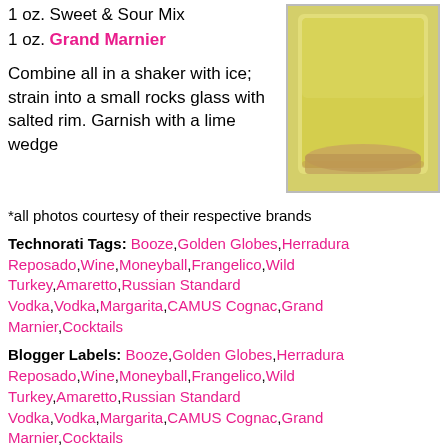1 oz. Sweet & Sour Mix
1 oz. Grand Marnier
Combine all in a shaker with ice; strain into a small rocks glass with salted rim. Garnish with a lime wedge
[Figure (photo): Photo of a yellow cocktail drink in a rocks glass with a salted rim]
*all photos courtesy of their respective brands
Technorati Tags: Booze,Golden Globes,Herradura Reposado,Wine,Moneyball,Frangelico,Wild Turkey,Amaretto,Russian Standard Vodka,Vodka,Margarita,CAMUS Cognac,Grand Marnier,Cocktails
Blogger Labels: Booze,Golden Globes,Herradura Reposado,Wine,Moneyball,Frangelico,Wild Turkey,Amaretto,Russian Standard Vodka,Vodka,Margarita,CAMUS Cognac,Grand Marnier,Cocktails